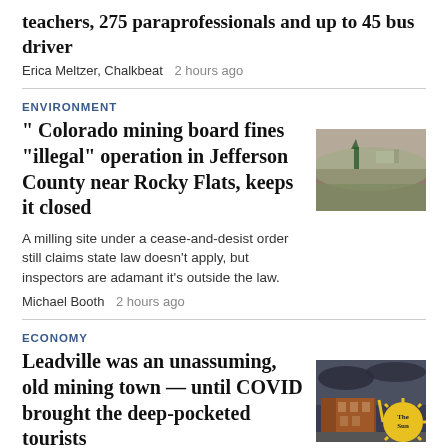teachers, 275 paraprofessionals and up to 45 bus driver
Erica Meltzer, Chalkbeat   2 hours ago
ENVIRONMENT
Colorado mining board fines “illegal” operation in Jefferson County near Rocky Flats, keeps it closed
A milling site under a cease-and-desist order still claims state law doesn't apply, but inspectors are adamant it's outside the law.
Michael Booth   2 hours ago
[Figure (photo): Outdoor landscape photo showing a mining area near Rocky Flats, Jefferson County, with arid terrain and hills in the background.]
ECONOMY
Leadville was an unassuming, old mining town — until COVID brought the deep-pocketed tourists
[Figure (photo): Photo of Leadville old mining town street scene with brick buildings under dramatic cloudy sky; The Sun logo badge overlaid in bottom right corner.]